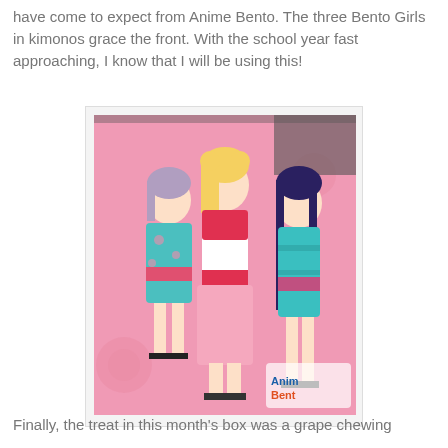have come to expect from Anime Bento. The three Bento Girls in kimonos grace the front. With the school year fast approaching, I know that I will be using this!
[Figure (photo): A pink anime poster featuring three anime girls dressed in kimonos (two in teal/blue and one in red/white), with the Anime Bento logo visible in the bottom right corner. The poster is laid on a wooden surface.]
Finally, the treat in this month's box was a grape chewing